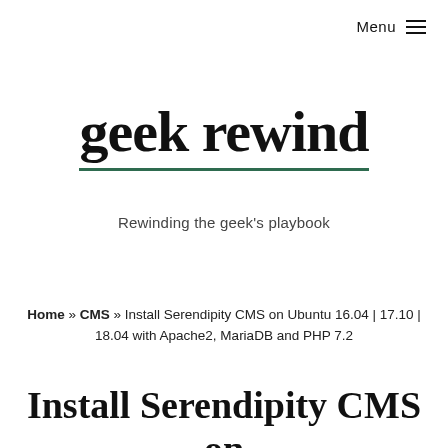Menu ≡
geek rewind
Rewinding the geek's playbook
Home » CMS » Install Serendipity CMS on Ubuntu 16.04 | 17.10 | 18.04 with Apache2, MariaDB and PHP 7.2
Install Serendipity CMS on